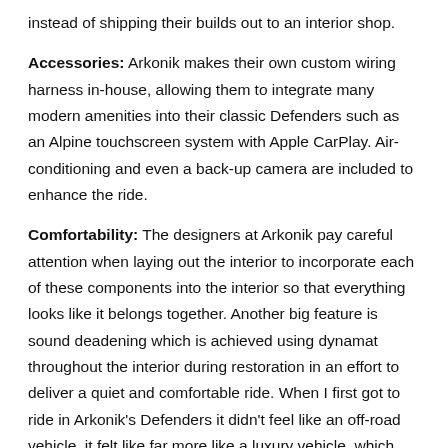instead of shipping their builds out to an interior shop.
Accessories: Arkonik makes their own custom wiring harness in-house, allowing them to integrate many modern amenities into their classic Defenders such as an Alpine touchscreen system with Apple CarPlay. Air-conditioning and even a back-up camera are included to enhance the ride.
Comfortability: The designers at Arkonik pay careful attention when laying out the interior to incorporate each of these components into the interior so that everything looks like it belongs together. Another big feature is sound deadening which is achieved using dynamat throughout the interior during restoration in an effort to deliver a quiet and comfortable ride. When I first got to ride in Arkonik's Defenders it didn't feel like an off-road vehicle, it felt like far more like a luxury vehicle, which made the off-roading experience that much more fun.